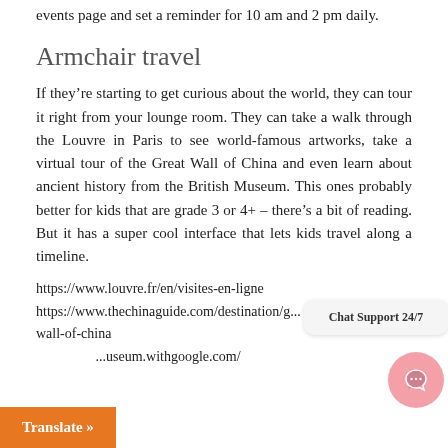events page and set a reminder for 10 am and 2 pm daily.
Armchair travel
If they’re starting to get curious about the world, they can tour it right from your lounge room. They can take a walk through the Louvre in Paris to see world-famous artworks, take a virtual tour of the Great Wall of China and even learn about ancient history from the British Museum. This ones probably better for kids that are grade 3 or 4+ – there’s a bit of reading. But it has a super cool interface that lets kids travel along a timeline.
https://www.louvre.fr/en/visites-en-ligne
https://www.thechinaguide.com/destination/great-wall-of-china
...useum.withgoogle.com/